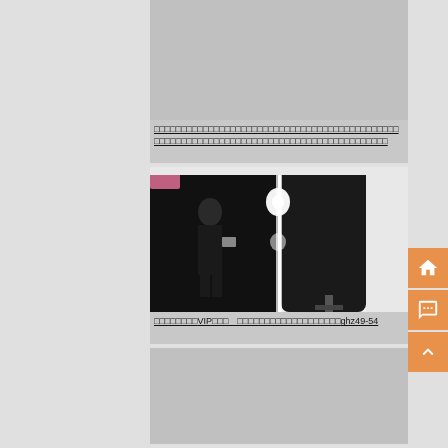[Figure (photo): Grey placeholder image card at top]
□□□□□□□□□□□□□□□□□□□□□□□□□□□□□□□□□□□□□□□□□□□□□□□□□□□□□□□□□□□□□□□□□□□□□□□□□□□□□□□□□□□□□□□□
[Figure (photo): Photo showing a dark large panel/screen in a bright white room with a person's reflection]
□□□□□□□□VIP□□□　□□□□□□□□□□□□□□□□□□□ghz49-54
[Figure (photo): Grey placeholder image card at bottom]